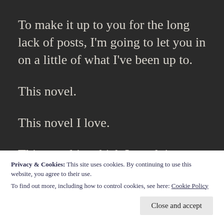To make it up to you for the long lack of posts, I'm going to let you in on a little of what I've been up to.
This novel.
This novel I love.
This novel in which I am doing absolutely
Privacy & Cookies: This site uses cookies. By continuing to use this website, you agree to their use.
To find out more, including how to control cookies, see here: Cookie Policy
Close and accept